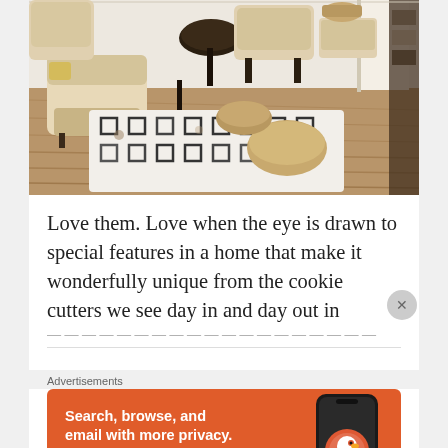[Figure (photo): Interior living room photo showing beige armchairs, a round dark side table, a patterned white and black rug on hardwood floors, and woven ottomans/poufs.]
Love them. Love when the eye is drawn to special features in a home that make it wonderfully unique from the cookie cutters we see day in and day out in
Advertisements
[Figure (screenshot): DuckDuckGo advertisement banner with orange background. Text reads: 'Search, browse, and email with more privacy. All in One Free App' with DuckDuckGo logo and phone image on the right.]